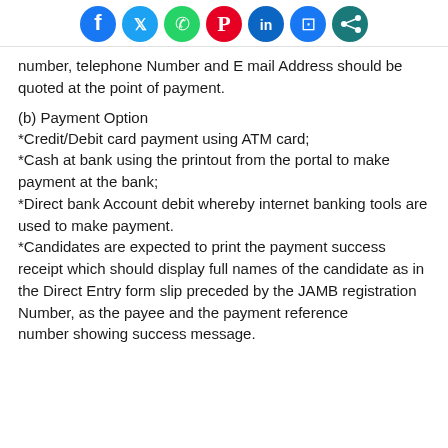[Figure (illustration): Row of social media sharing icons: Facebook, Twitter, WhatsApp, Pinterest, LinkedIn, Messenger, Share]
number, telephone Number and E mail Address should be quoted at the point of payment.
(b) Payment Option
*Credit/Debit card payment using ATM card;
*Cash at bank using the printout from the portal to make payment at the bank;
*Direct bank Account debit whereby internet banking tools are used to make payment.
*Candidates are expected to print the payment success receipt which should display full names of the candidate as in the Direct Entry form slip preceded by the JAMB registration Number, as the payee and the payment reference
number showing success message.